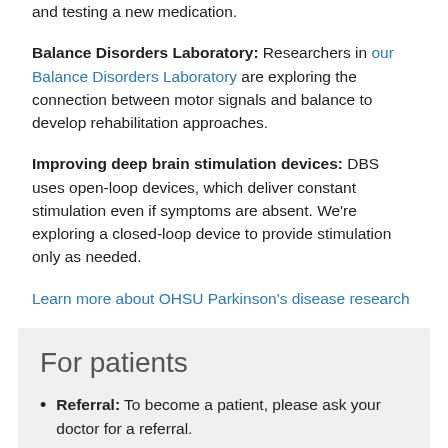and testing a new medication.
Balance Disorders Laboratory: Researchers in our Balance Disorders Laboratory are exploring the connection between motor signals and balance to develop rehabilitation approaches.
Improving deep brain stimulation devices: DBS uses open-loop devices, which deliver constant stimulation even if symptoms are absent. We're exploring a closed-loop device to provide stimulation only as needed.
Learn more about OHSU Parkinson's disease research
For patients
Referral: To become a patient, please ask your doctor for a referral.